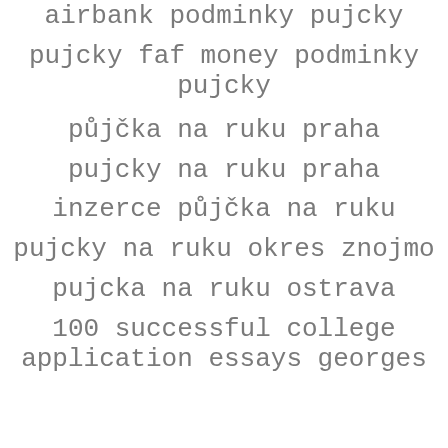airbank podminky pujcky
pujcky faf money podminky pujcky
půjčka na ruku praha
pujcky na ruku praha
inzerce půjčka na ruku
pujcky na ruku okres znojmo
pujcka na ruku ostrava
100 successful college application essays georges